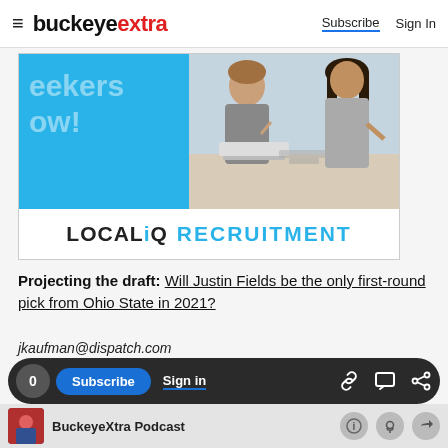buckeyextra — Subscribe  Sign In
[Figure (photo): LOCALiQ RECRUITMENT advertisement banner with photo of business professionals at a laptop and the text 'LOCALiQ RECRUITMENT']
Projecting the draft:  Will Justin Fields be the only first-round pick from Ohio State in 2021?
jkaufman@dispatch.com
@joeyrkaufman
0  Subscribe  Sign in  [link icon] [comment icon] [share icon]  BuckeyeXtra Podcast  [info] [podcast] [share]